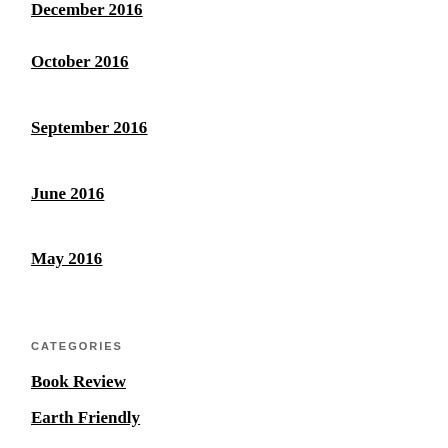December 2016
October 2016
September 2016
June 2016
May 2016
CATEGORIES
Book Review
Earth Friendly
Encouragement
For Families